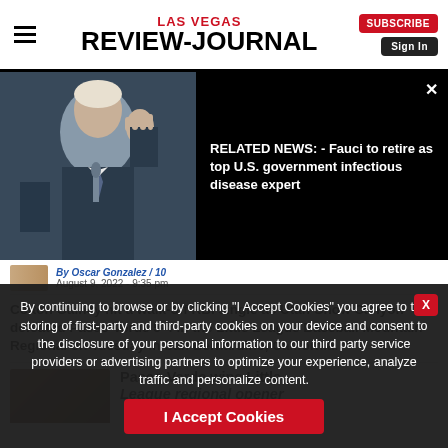LAS VEGAS REVIEW-JOURNAL
[Figure (photo): Photo of Dr. Fauci raising hand, black background, related news overlay showing text about Fauci retiring as top U.S. government infectious disease expert]
By Oscar Gonzalez / 10
August 9, 2022 - 9:35 pm
Colton Gainey hit a walk-off RBI single as Utah-Snow Canyon defeated Paseo Verde 5-4 in the Little League Baseball Mountain Regional on Tuesday in San Bernardino, California.
Paseo Verde wins Little League regional opener
By continuing to browse or by clicking "I Accept Cookies" you agree to the storing of first-party and third-party cookies on your device and consent to the disclosure of your personal information to our third party service providers or advertising partners to optimize your experience, analyze traffic and personalize content.